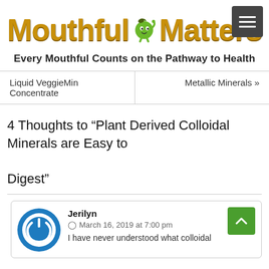[Figure (logo): Mouthful Matters website logo with green cartoon fruit character between words, golden/yellow metallic text]
Every Mouthful Counts on the Pathway to Health
Liquid VeggieMin Concentrate
Metallic Minerals »
4 Thoughts to “Plant Derived Colloidal Minerals are Easy to Digest”
Jerilyn
March 16, 2019 at 7:00 pm
I have never understood what colloidal